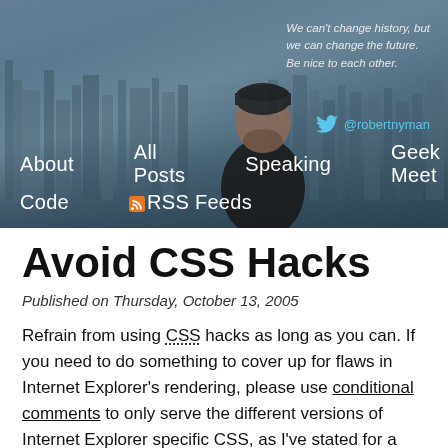[Figure (photo): Website header banner with a city skyline background (aerial view of a dense urban area in hazy blue tones), a person standing in the foreground wearing a dark beanie and jacket, a quote in the upper right, a Twitter handle, and navigation menu items at the bottom.]
We can't change history, but we can change the future. Be nice to each other.
@robertnyman
About   All Posts   Speaking   Geek Meet
Code   RSS Feeds
Avoid CSS Hacks
Published on Thursday, October 13, 2005
Refrain from using CSS hacks as long as you can. If you need to do something to cover up for flaws in Internet Explorer's rendering, please use conditional comments to only serve the different versions of Internet Explorer specific CSS, as I've stated for a long time.